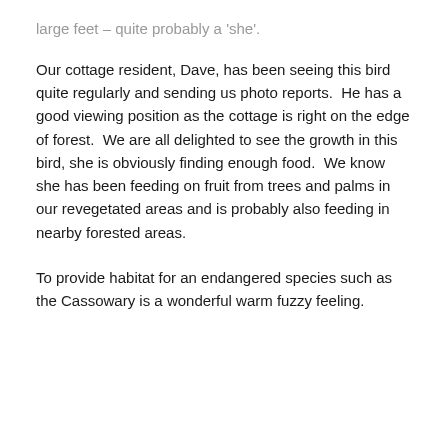large feet – quite probably a 'she'.
Our cottage resident, Dave, has been seeing this bird quite regularly and sending us photo reports.  He has a good viewing position as the cottage is right on the edge of forest.  We are all delighted to see the growth in this bird, she is obviously finding enough food.  We know she has been feeding on fruit from trees and palms in our revegetated areas and is probably also feeding in nearby forested areas.
To provide habitat for an endangered species such as the Cassowary is a wonderful warm fuzzy feeling.